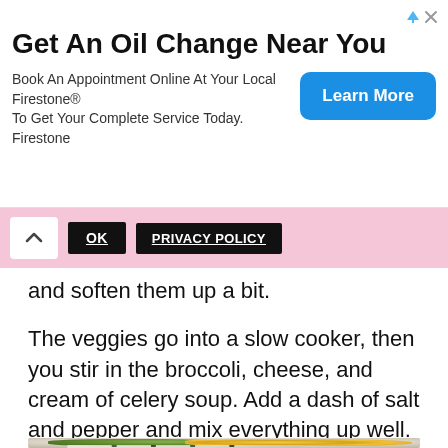[Figure (other): Advertisement banner for Firestone oil change service with 'Learn More' button]
Get An Oil Change Near You
Book An Appointment Online At Your Local Firestone® To Get Your Complete Service Today. Firestone
[Figure (other): Cookie/privacy consent bar with OK and PRIVACY POLICY buttons and chevron up arrow]
and soften them up a bit.
The veggies go into a slow cooker, then you stir in the broccoli, cheese, and cream of celery soup. Add a dash of salt and pepper and mix everything up well.
[Figure (photo): Photo of a slow cooker crock showing broccoli, shredded cheddar cheese, and cream of celery soup with pepper]